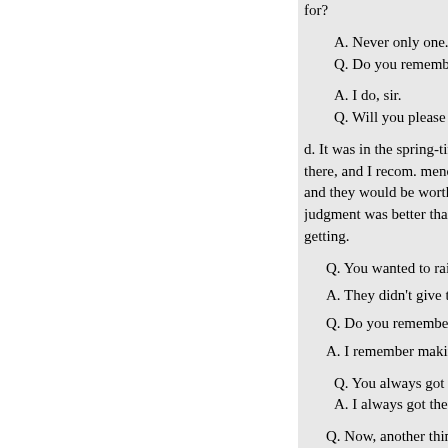for? A. Never only one. Q. Do you remember what t A. I do, sir. Q. Will you please tell us w d. It was in the spring-time. Long there, and I recom. mended to the and they would be worth twice a judgment was better than mine, c getting. Q. You wanted to raise some c A. They didn't give them to me Q. Do you remember ever mak A. I remember making the req Q. You always got them? A. I always got them; yes, s Q. Now, another thing. Somet getting a good trade on some tree